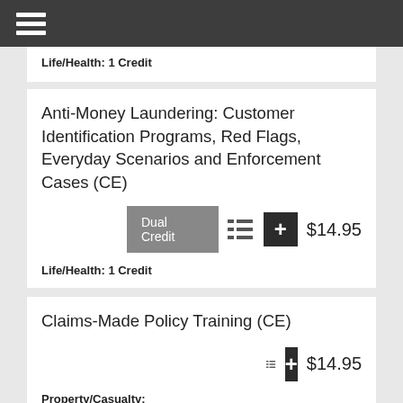☰
Life/Health: 1 Credit
Anti-Money Laundering: Customer Identification Programs, Red Flags, Everyday Scenarios and Enforcement Cases (CE)
Dual Credit  [list icon]  [+]  $14.95
Life/Health: 1 Credit
Claims-Made Policy Training (CE)
[list icon]  [+]  $14.95
Property/Casualty: 2 Credits